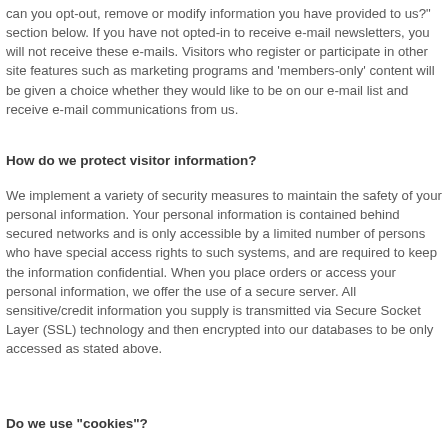can you opt-out, remove or modify information you have provided to us?" section below. If you have not opted-in to receive e-mail newsletters, you will not receive these e-mails. Visitors who register or participate in other site features such as marketing programs and 'members-only' content will be given a choice whether they would like to be on our e-mail list and receive e-mail communications from us.
How do we protect visitor information?
We implement a variety of security measures to maintain the safety of your personal information. Your personal information is contained behind secured networks and is only accessible by a limited number of persons who have special access rights to such systems, and are required to keep the information confidential. When you place orders or access your personal information, we offer the use of a secure server. All sensitive/credit information you supply is transmitted via Secure Socket Layer (SSL) technology and then encrypted into our databases to be only accessed as stated above.
Do we use "cookies"?